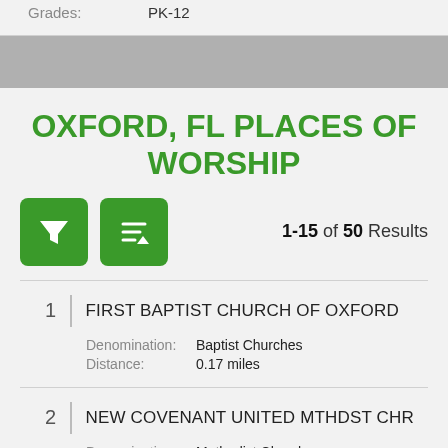Grades: PK-12
OXFORD, FL PLACES OF WORSHIP
1-15 of 50 Results
1 FIRST BAPTIST CHURCH OF OXFORD
Denomination: Baptist Churches
Distance: 0.17 miles
2 NEW COVENANT UNITED MTHDST CHR
Denomination: Methodist Churches